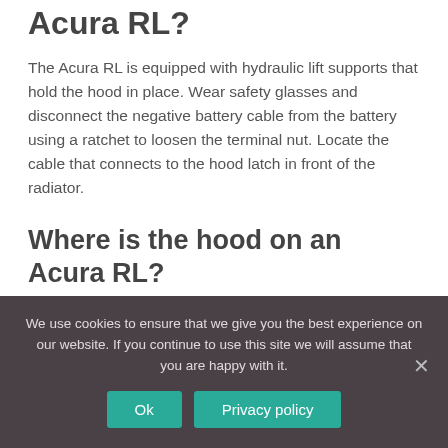Acura RL?
The Acura RL is equipped with hydraulic lift supports that hold the hood in place. Wear safety glasses and disconnect the negative battery cable from the battery using a ratchet to loosen the terminal nut. Locate the cable that connects to the hood latch in front of the radiator.
Where is the hood on an Acura RL?
Pull the hood release lever, located below the dash and to the left of the steering wheel. Depress the hood latch, located below the front tip of the hood, and lift the hood up. The Acura RL is equipped with hydraulic lift supports that
We use cookies to ensure that we give you the best experience on our website. If you continue to use this site we will assume that you are happy with it.